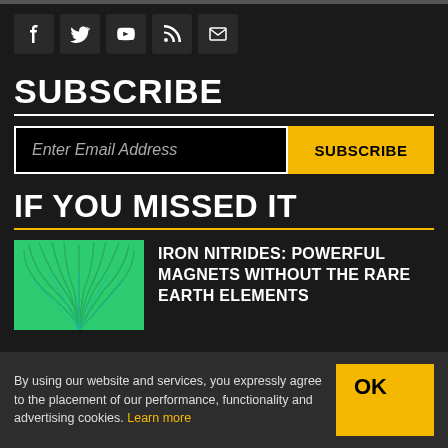[Figure (other): Social media icons: Facebook, Twitter, YouTube, RSS, Email]
SUBSCRIBE
Enter Email Address [SUBSCRIBE button]
IF YOU MISSED IT
[Figure (illustration): Green abstract concentric arch pattern thumbnail]
IRON NITRIDES: POWERFUL MAGNETS WITHOUT THE RARE EARTH ELEMENTS
By using our website and services, you expressly agree to the placement of our performance, functionality and advertising cookies. Learn more [OK button]